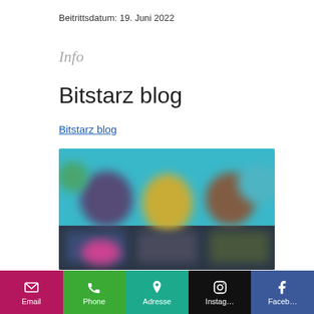Beitrittsdatum: 19. Juni 2022
Info
Bitstarz blog
Bitstarz blog
[Figure (photo): Blurred screenshot of a gaming or casino website with colorful animated characters and game thumbnails]
Email | Phone | Adresse | Instag... | Faceb...